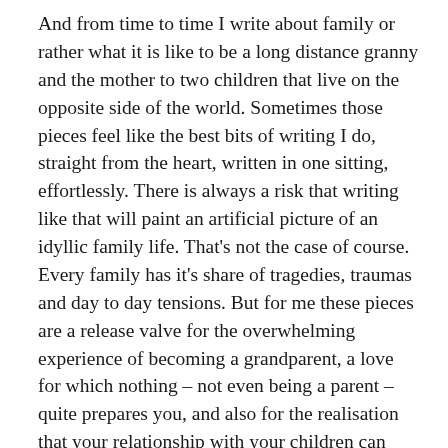And from time to time I write about family or rather what it is like to be a long distance granny and the mother to two children that live on the opposite side of the world. Sometimes those pieces feel like the best bits of writing I do, straight from the heart, written in one sitting, effortlessly. There is always a risk that writing like that will paint an artificial picture of an idyllic family life. That's not the case of course. Every family has it's share of tragedies, traumas and day to day tensions. But for me these pieces are a release valve for the overwhelming experience of becoming a grandparent, a love for which nothing – not even being a parent – quite prepares you, and also for the realisation that your relationship with your children can deepen and strengthen as they become adults, even when they live on the other side of the world.
So to mark the second anniversary of the blog I did a bit of reorganising of its contents to make the posts